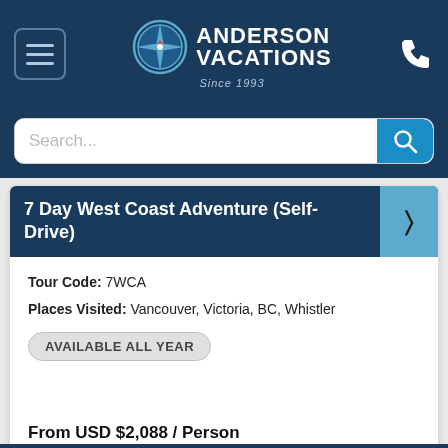[Figure (logo): Anderson Vacations logo with compass rose and 'Since 1993' tagline on dark navy header]
Search...
7 Day West Coast Adventure (Self-Drive)
Tour Code: 7WCA
Places Visited: Vancouver, Victoria, BC, Whistler
AVAILABLE ALL YEAR
From USD $2,088 / Person
View Itinerary & Details